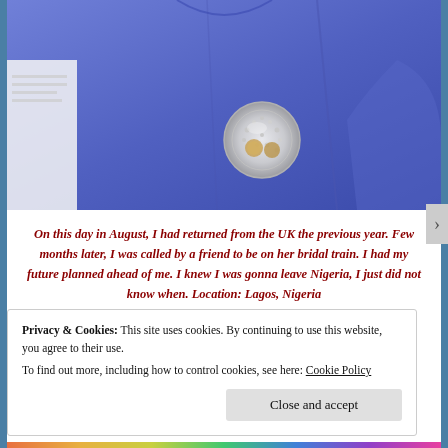[Figure (photo): Close-up photo of a person wearing a blue top with a decorative silver brooch/pin on the chest area. A white document or paper is partially visible on the left side.]
On this day in August, I had returned from the UK the previous year. Few months later, I was called by a friend to be on her bridal train. I had my future planned ahead of me. I knew I was gonna leave Nigeria, I just did not know when. Location: Lagos, Nigeria
Privacy & Cookies: This site uses cookies. By continuing to use this website, you agree to their use. To find out more, including how to control cookies, see here: Cookie Policy